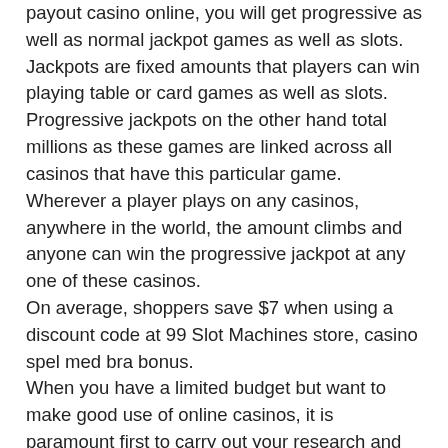payout casino online, you will get progressive as well as normal jackpot games as well as slots. Jackpots are fixed amounts that players can win playing table or card games as well as slots. Progressive jackpots on the other hand total millions as these games are linked across all casinos that have this particular game. Wherever a player plays on any casinos, anywhere in the world, the amount climbs and anyone can win the progressive jackpot at any one of these casinos.
On average, shoppers save $7 when using a discount code at 99 Slot Machines store, casino spel med bra bonus.
When you have a limited budget but want to make good use of online casinos, it is paramount first to carry out your research and check for a website offering online slots real money no deposit. With this, you can go for a test run without having spent even a single buck. In most cases, when you check